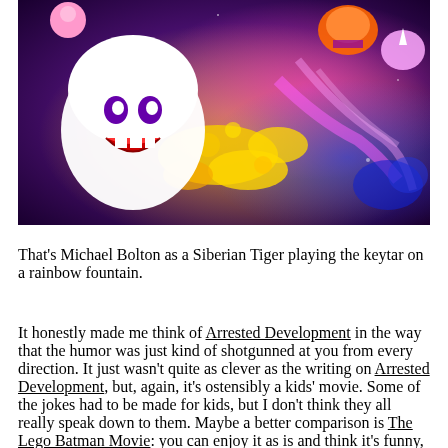[Figure (illustration): Colorful animated scene with a white ghost-like character with purple eyes smiling, cartoon characters including a tiger playing keytar on a rainbow fountain, against a vibrant purple and gold cosmic background.]
That's Michael Bolton as a Siberian Tiger playing the keytar on a rainbow fountain.
It honestly made me think of Arrested Development in the way that the humor was just kind of shotgunned at you from every direction. It just wasn't quite as clever as the writing on Arrested Development, but, again, it's ostensibly a kids' movie. Some of the jokes had to be made for kids, but I don't think they all really speak down to them. Maybe a better comparison is The Lego Batman Movie: you can enjoy it as is and think it's funny, but the more you know about the property and the